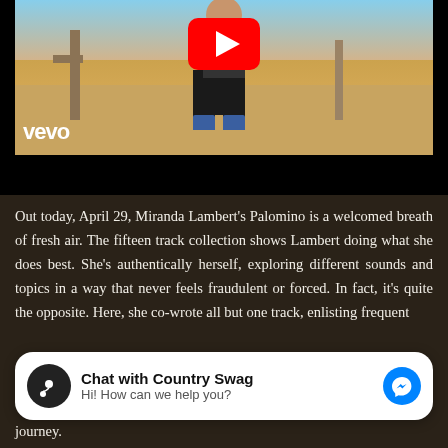[Figure (screenshot): YouTube/Vevo video thumbnail showing a woman in black outfit with cowboy belt in a desert setting, with YouTube play button overlay and vevo watermark]
Out today, April 29, Miranda Lambert's Palomino is a welcomed breath of fresh air. The fifteen track collection shows Lambert doing what she does best. She's authentically herself, exploring different sounds and topics in a way that never feels fraudulent or forced. In fact, it's quite the opposite. Here, she co-wrote all but one track, enlisting frequent
[Figure (screenshot): Facebook Messenger chat widget with music note icon, title 'Chat with Country Swag', subtitle 'Hi! How can we help you?' and blue messenger icon]
journey.